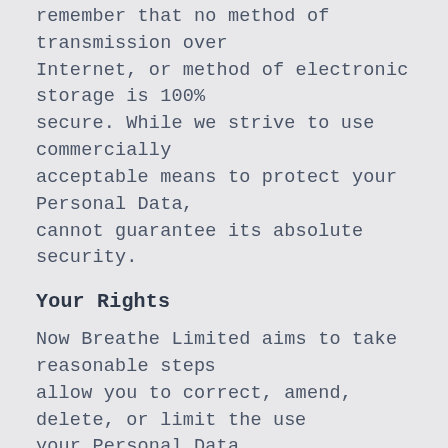remember that no method of transmission over the Internet, or method of electronic storage is 100% secure. While we strive to use commercially acceptable means to protect your Personal Data, cannot guarantee its absolute security.
Your Rights
Now Breathe Limited aims to take reasonable steps to allow you to correct, amend, delete, or limit the use of your Personal Data. Whenever made possible, you can update your Personal Data directly within your account settings section. If you are unable to change your Personal Data, please contact us to make the required changes.
If you wish to be informed what Personal Data we hold about you and if you want it to be removed from...